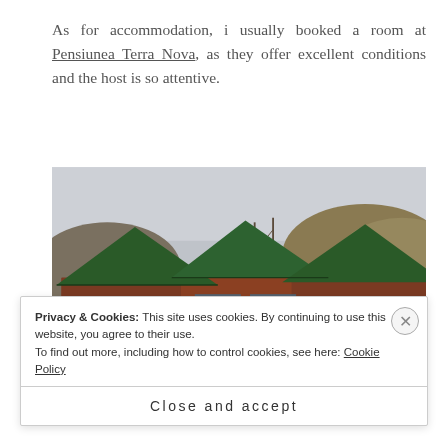As for accommodation, i usually booked a room at Pensiunea Terra Nova, as they offer excellent conditions and the host is so attentive.
[Figure (photo): Photo of Pensiunea Terra Nova: wooden cabin-style buildings with dark green peaked roofs, reddish-brown timber walls, large glass panels, set against hills and an overcast sky.]
Privacy & Cookies: This site uses cookies. By continuing to use this website, you agree to their use.
To find out more, including how to control cookies, see here: Cookie Policy
Close and accept